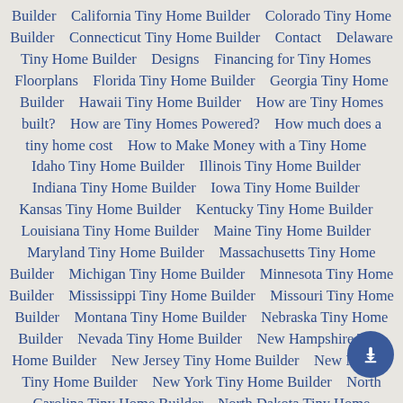Builder    California Tiny Home Builder    Colorado Tiny Home Builder    Connecticut Tiny Home Builder    Contact    Delaware Tiny Home Builder    Designs    Financing for Tiny Homes    Floorplans    Florida Tiny Home Builder    Georgia Tiny Home Builder    Hawaii Tiny Home Builder    How are Tiny Homes built?    How are Tiny Homes Powered?    How much does a tiny home cost    How to Make Money with a Tiny Home    Idaho Tiny Home Builder    Illinois Tiny Home Builder    Indiana Tiny Home Builder    Iowa Tiny Home Builder    Kansas Tiny Home Builder    Kentucky Tiny Home Builder    Louisiana Tiny Home Builder    Maine Tiny Home Builder    Maryland Tiny Home Builder    Massachusetts Tiny Home Builder    Michigan Tiny Home Builder    Minnesota Tiny Home Builder    Mississippi Tiny Home Builder    Missouri Tiny Home Builder    Montana Tiny Home Builder    Nebraska Tiny Home Builder    Nevada Tiny Home Builder    New Hampshire Tiny Home Builder    New Jersey Tiny Home Builder    New Mexico Tiny Home Builder    New York Tiny Home Builder    North Carolina Tiny Home Builder    North Dakota Tiny Home Builder    Ohio Tiny Home Builder    Oklahoma Tiny Home Builder    Oregon Tiny Home Builder    Pennsylvania Tiny Home Builder    Rhode Island Tiny Home Builder    South Carolina Tiny Home Builder    South Dakota Tiny Home Builder    Tennessee Tiny Home